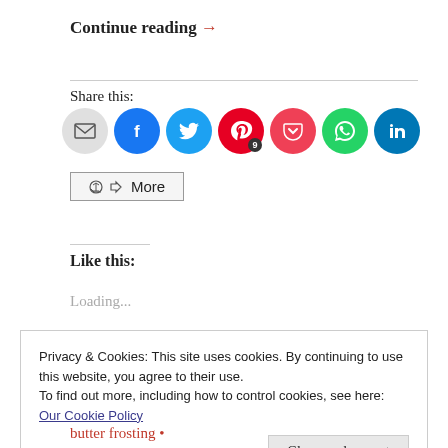Continue reading →
Share this:
[Figure (infographic): Row of social share icon circles: email (grey), Facebook (blue), Twitter (cyan), Pinterest (red with badge '9'), Pocket (red), WhatsApp (green), LinkedIn (dark blue)]
< More
Like this:
Loading...
Privacy & Cookies: This site uses cookies. By continuing to use this website, you agree to their use.
To find out more, including how to control cookies, see here: Our Cookie Policy
Close and accept
butter frosting •